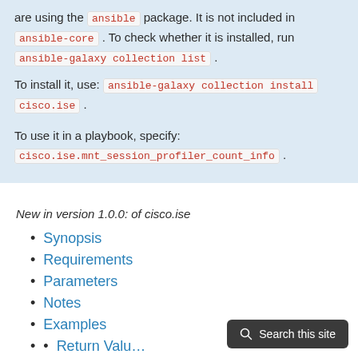are using the ansible package. It is not included in ansible-core . To check whether it is installed, run ansible-galaxy collection list .
To install it, use: ansible-galaxy collection install cisco.ise .
To use it in a playbook, specify: cisco.ise.mnt_session_profiler_count_info .
New in version 1.0.0: of cisco.ise
Synopsis
Requirements
Parameters
Notes
Examples
Return Values